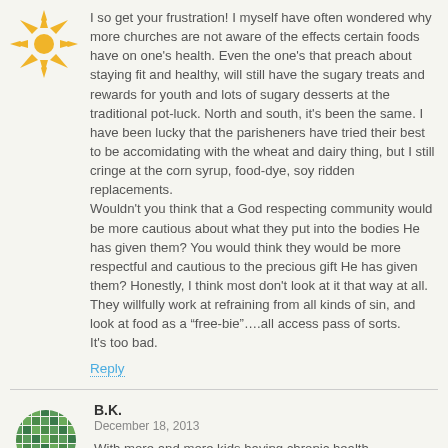[Figure (illustration): Yellow/orange starburst avatar icon for commenter]
I so get your frustration! I myself have often wondered why more churches are not aware of the effects certain foods have on one's health. Even the one's that preach about staying fit and healthy, will still have the sugary treats and rewards for youth and lots of sugary desserts at the traditional pot-luck. North and south, it's been the same. I have been lucky that the parisheners have tried their best to be accomidating with the wheat and dairy thing, but I still cringe at the corn syrup, food-dye, soy ridden replacements.
Wouldn't you think that a God respecting community would be more cautious about what they put into the bodies He has given them? You would think they would be more respectful and cautious to the precious gift He has given them? Honestly, I think most don't look at it that way at all. They willfully work at refraining from all kinds of sin, and look at food as a “free-bie”….all access pass of sorts.
It's too bad.
Reply
[Figure (illustration): Green mosaic/quilt pattern avatar icon for B.K.]
B.K.
December 18, 2013
With more and more kids having chronic health